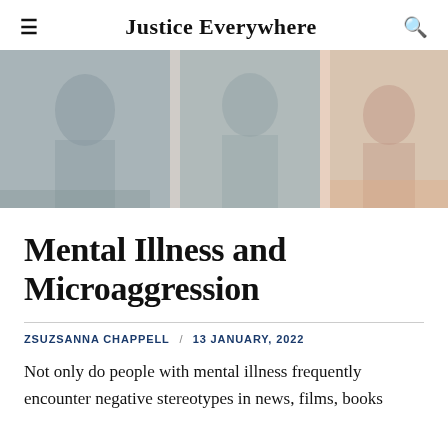Justice Everywhere
[Figure (photo): Hero image strip showing partial photographs, likely people or scenes related to article topic, with muted color tones]
Mental Illness and Microaggression
ZSUZSANNA CHAPPELL / 13 JANUARY, 2022
Not only do people with mental illness frequently encounter negative stereotypes in news, films, books